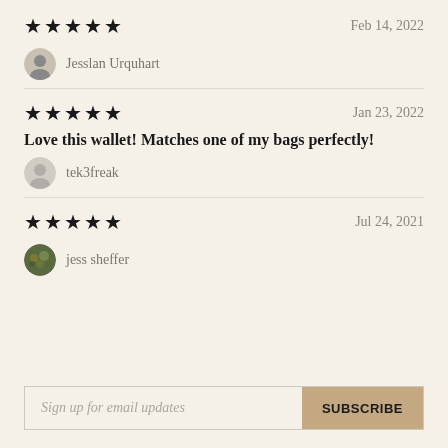★★★★★   Feb 14, 2022
Jesslan Urquhart
★★★★★   Jan 23, 2022
Love this wallet! Matches one of my bags perfectly!
tek3freak
★★★★★   Jul 24, 2021
jess sheffer
Sign up for email updates  SUBSCRIBE